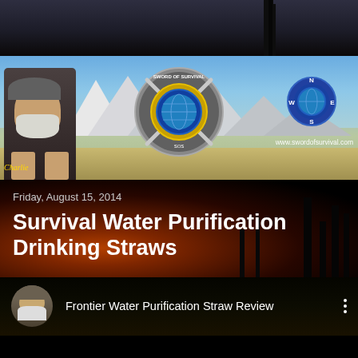[Figure (screenshot): Dark sky with cactus silhouette top banner]
[Figure (screenshot): Sword of Survival website banner with bearded man (Charlie), mountain desert landscape, central badge/logo with crossed swords and globe, compass rose on right, website URL www.swordofsurvival.com]
Friday, August 15, 2014
Survival Water Purification Drinking Straws
[Figure (screenshot): Video thumbnail preview showing bearded man avatar and title: Frontier Water Purification Straw Review]